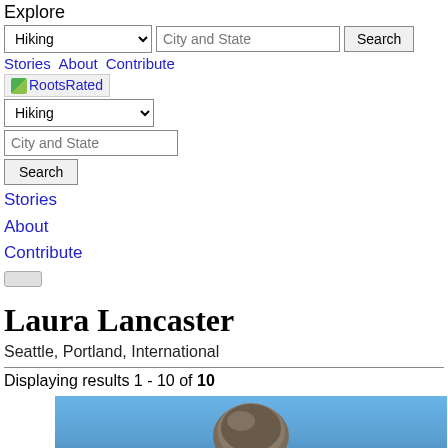Explore
Hiking [dropdown] | City and State [input] | Search [button]
Stories  About  Contribute
[Figure (logo): RootsRated logo with small green leaf icon and text 'RootsRated']
Hiking [dropdown]
City and State [input]
Search [button]
Stories
About
Contribute
Laura Lancaster
Seattle, Portland, International
Displaying results 1 - 10 of 10
[Figure (photo): Photo showing the top of a person's head wearing a hat against a blue sky background]